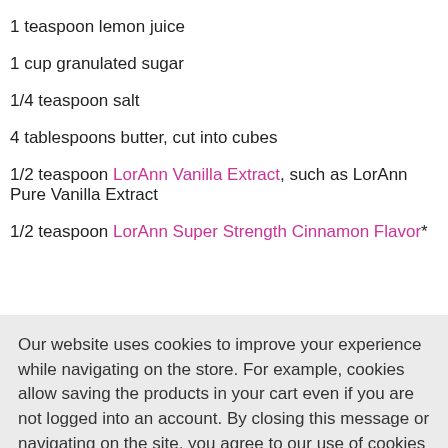1 teaspoon lemon juice
1 cup granulated sugar
1/4 teaspoon salt
4 tablespoons butter, cut into cubes
1/2 teaspoon LorAnn Vanilla Extract, such as LorAnn Pure Vanilla Extract
1/2 teaspoon LorAnn Super Strength Cinnamon Flavor*
Our website uses cookies to improve your experience while navigating on the store. For example, cookies allow saving the products in your cart even if you are not logged into an account. By closing this message or navigating on the site, you agree to our use of cookies  View our Privacy Policy
Got it!
1. Spray the cavities of the molds with non-stick cooking spray and insert lollipop sticks; set aside.